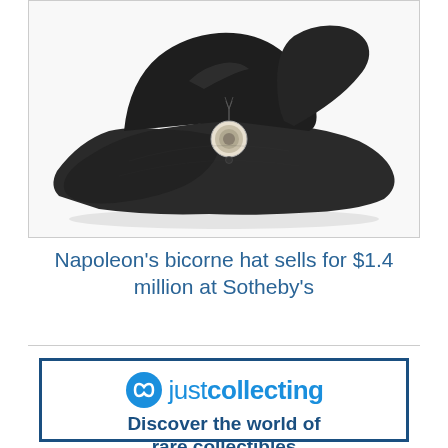[Figure (photo): Napoleon's black bicorne (bicorn) hat photographed against a white background, showing its characteristic two-cornered shape with a decorative cockade rosette in the center.]
Napoleon's bicorne hat sells for $1.4 million at Sotheby's
[Figure (logo): justcollecting logo advertisement with a circular infinity-style icon in blue, the text 'just collecting' in blue, and the tagline 'Discover the world of rare collectibles' in dark blue bold text, all inside a dark blue bordered box.]